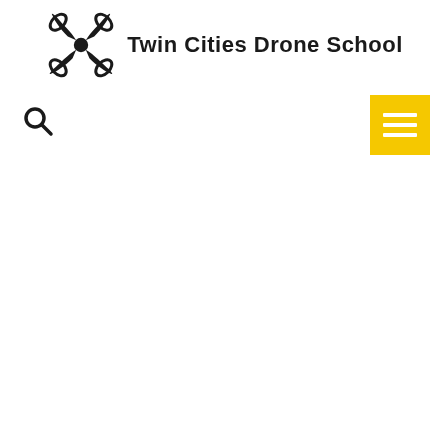[Figure (logo): Twin Cities Drone School logo — a drone/quadcopter icon in black with four curved arms and a central hub, alongside the text 'Twin Cities Drone School' in bold]
[Figure (other): Search magnifying glass icon in black]
[Figure (other): Yellow hamburger menu button with three white horizontal lines]